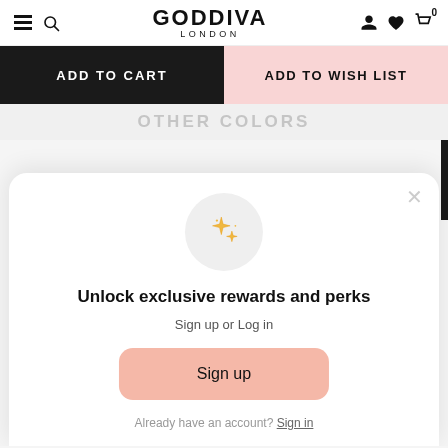GODDIVA LONDON
ADD TO CART
ADD TO WISH LIST
OTHER COLORS
Unlock exclusive rewards and perks
Sign up or Log in
Sign up
Already have an account? Sign in